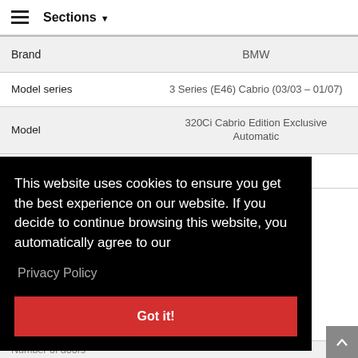Sections
|  |  |
| --- | --- |
| Brand | BMW |
| Model series | 3 Series (E46) Cabrio (03/03 – 01/07) |
| Model | 320Ci Cabrio Edition Exclusive Automatic |
| Internal code | E46 |
This website uses cookies to ensure you get the best experience on our website. If you decide to continue browsing this website, you automatically agree to our
Privacy Policy
Got it!
Number of doors   2